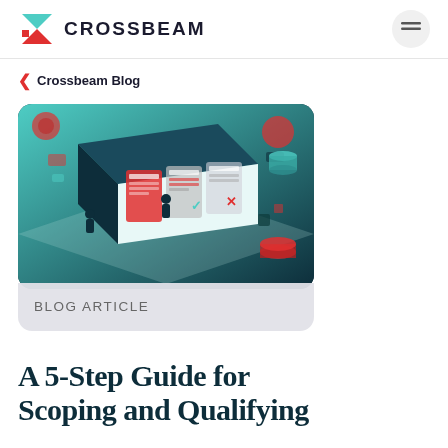CROSSBEAM
< Crossbeam Blog
[Figure (illustration): Isometric illustration of a computer screen showing kanban-style cards/lists with people working around it, in teal, red, and dark color palette. Blog article card image.]
BLOG ARTICLE
A 5-Step Guide for Scoping and Qualifying